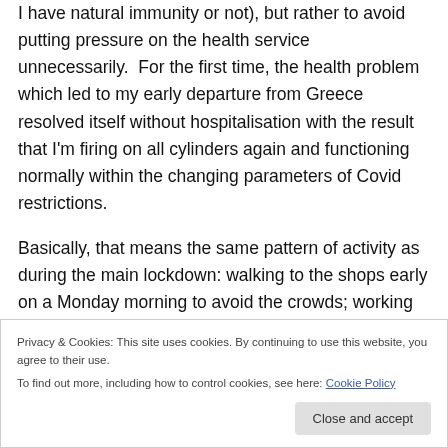I have natural immunity or not), but rather to avoid putting pressure on the health service unnecessarily.  For the first time, the health problem which led to my early departure from Greece resolved itself without hospitalisation with the result that I'm firing on all cylinders again and functioning normally within the changing parameters of Covid restrictions.
Basically, that means the same pattern of activity as during the main lockdown: walking to the shops early on a Monday morning to avoid the crowds; working in the
Privacy & Cookies: This site uses cookies. By continuing to use this website, you agree to their use.
To find out more, including how to control cookies, see here: Cookie Policy